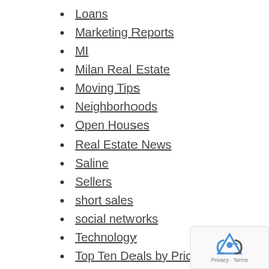Loans
Marketing Reports
MI
Milan Real Estate
Moving Tips
Neighborhoods
Open Houses
Real Estate News
Saline
Sellers
short sales
social networks
Technology
Top Ten Deals by Price per